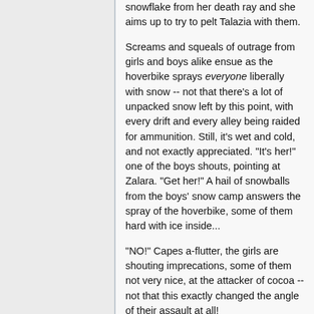snowflake from her death ray and she aims up to try to pelt Talazia with them.
Screams and squeals of outrage from girls and boys alike ensue as the hoverbike sprays everyone liberally with snow -- not that there's a lot of unpacked snow left by this point, with every drift and every alley being raided for ammunition. Still, it's wet and cold, and not exactly appreciated. "It's her!" one of the boys shouts, pointing at Zalara. "Get her!" A hail of snowballs from the boys' snow camp answers the spray of the hoverbike, some of them hard with ice inside...
"NO!" Capes a-flutter, the girls are shouting imprecations, some of them not very nice, at the attacker of cocoa -- not that this exactly changed the angle of their assault at all!